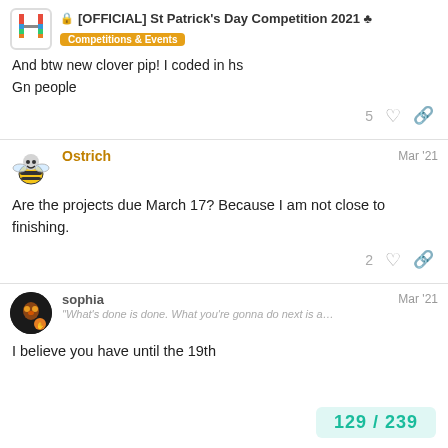[OFFICIAL] St Patrick's Day Competition 2021 🍀 | Competitions & Events
And btw new clover pip! I coded in hs
Gn people
Ostrich  Mar '21
Are the projects due March 17? Because I am not close to finishing.
sophia  Mar '21
"What's done is done. What you're gonna do next is a...
I believe you have until the 19th
129 / 239